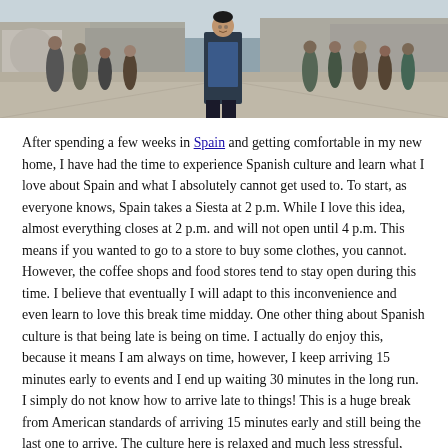[Figure (photo): Outdoor photo of a man standing in a Spanish plaza or square, with crowds of people and historic buildings visible in the background. The scene appears to be taken in a European city, likely Spain.]
After spending a few weeks in Spain and getting comfortable in my new home, I have had the time to experience Spanish culture and learn what I love about Spain and what I absolutely cannot get used to. To start, as everyone knows, Spain takes a Siesta at 2 p.m. While I love this idea, almost everything closes at 2 p.m. and will not open until 4 p.m. This means if you wanted to go to a store to buy some clothes, you cannot. However, the coffee shops and food stores tend to stay open during this time. I believe that eventually I will adapt to this inconvenience and even learn to love this break time midday. One other thing about Spanish culture is that being late is being on time. I actually do enjoy this, because it means I am always on time, however, I keep arriving 15 minutes early to events and I end up waiting 30 minutes in the long run. I simply do not know how to arrive late to things! This is a huge break from American standards of arriving 15 minutes early and still being the last one to arrive. The culture here is relaxed and much less stressful, which I enjoy.
Now, there are a plethora of aspects of Spanish culture I